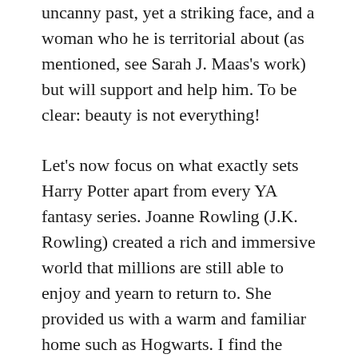uncanny past, yet a striking face, and a woman who he is territorial about (as mentioned, see Sarah J. Maas's work) but will support and help him. To be clear: beauty is not everything!
Let's now focus on what exactly sets Harry Potter apart from every YA fantasy series. Joanne Rowling (J.K. Rowling) created a rich and immersive world that millions are still able to enjoy and yearn to return to. She provided us with a warm and familiar home such as Hogwarts. I find the wizarding world to have such a memorable depth to it and generate a sense of real intrigue. Granted, some may argue that Sarah J. Maas's fantasy worlds are just as intricately crafted and captivating, but I find they are easily forgettable and not nearly as fascinating. Every time I reread